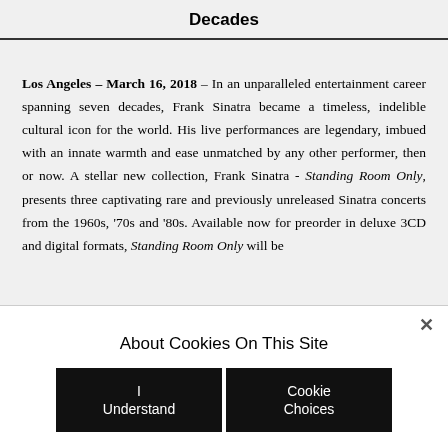Decades
Los Angeles – March 16, 2018 – In an unparalleled entertainment career spanning seven decades, Frank Sinatra became a timeless, indelible cultural icon for the world. His live performances are legendary, imbued with an innate warmth and ease unmatched by any other performer, then or now. A stellar new collection, Frank Sinatra - Standing Room Only, presents three captivating rare and previously unreleased Sinatra concerts from the 1960s, '70s and '80s. Available now for preorder in deluxe 3CD and digital formats, Standing Room Only will be
About Cookies On This Site
I Understand
Cookie Choices